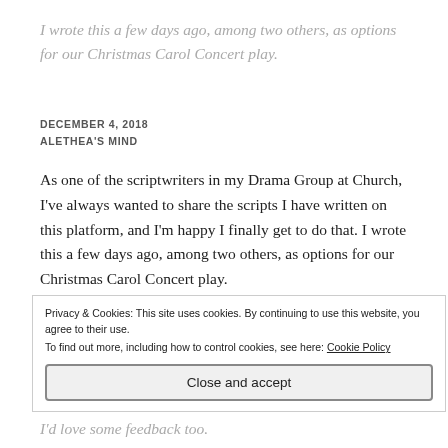I wrote this a few days ago, among two others, as options for our Christmas Carol Concert play.
DECEMBER 4, 2018
ALETHEA'S MIND
As one of the scriptwriters in my Drama Group at Church, I've always wanted to share the scripts I have written on this platform, and I'm happy I finally get to do that. I wrote this a few days ago, among two others, as options for our Christmas Carol Concert play.
Privacy & Cookies: This site uses cookies. By continuing to use this website, you agree to their use. To find out more, including how to control cookies, see here: Cookie Policy
Close and accept
I'd love some feedback too.